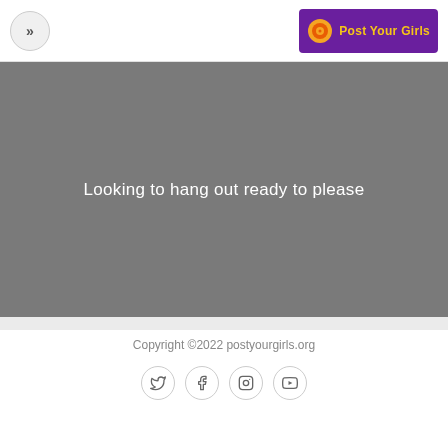[Figure (logo): Navigation button with double chevron >> in a circle, and PostYourGirls logo with orange/yellow circle and purple background with yellow text]
[Figure (photo): Gray placeholder image/banner area with text overlay reading 'Looking to hang out ready to please']
Looking to hang out ready to please
Copyright ©2022 postyourgirls.org
[Figure (other): Social media icons: Twitter, Facebook, Instagram, YouTube in circular bordered buttons]